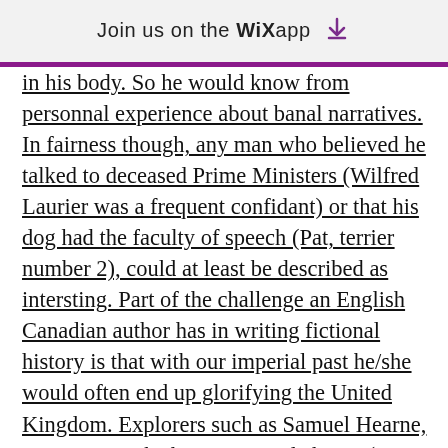Join us on the WiX app ⬇
in his body. So he would know from personnal experience about banal narratives. In fairness though, any man who believed he talked to deceased Prime Ministers (Wilfred Laurier was a frequent confidant) or that his dog had the faculty of speech (Pat, terrier number 2), could at least be described as intersting. Part of the challenge an English Canadian author has in writing fictional history is that with our imperial past he/she would often end up glorifying the United Kingdom. Explorers such as Samuel Hearne, or Martin Frobisher were Englishmen (as in England) and to place fictional literature in that